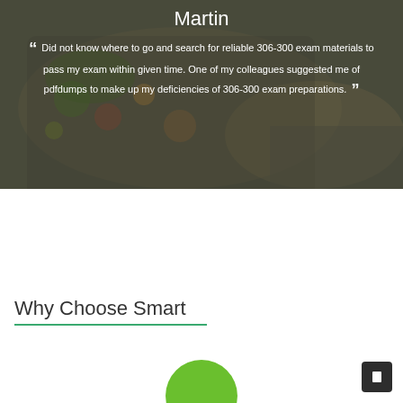[Figure (photo): Background photo of a tablet/computer with food-related content visible, hands typing on keyboard, dark semi-transparent overlay]
Martin
“ Did not know where to go and search for reliable 306-300 exam materials to pass my exam within given time. One of my colleagues suggested me of pdfdumps to make up my deficiencies of 306-300 exam preparations. ”
Why Choose Smart